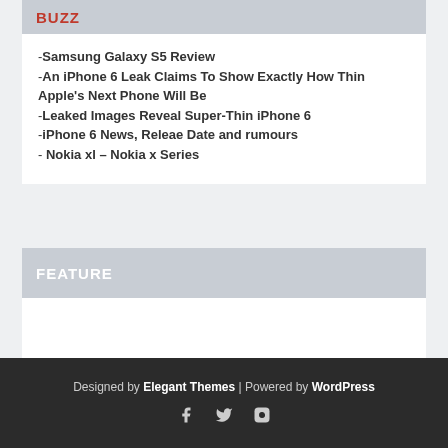BUZZ
-Samsung Galaxy S5 Review
-An iPhone 6 Leak Claims To Show Exactly How Thin Apple's Next Phone Will Be
-Leaked Images Reveal Super-Thin iPhone 6
-iPhone 6 News, Releae Date and rumours
- Nokia xl – Nokia x Series
FEATURE
Designed by Elegant Themes | Powered by WordPress